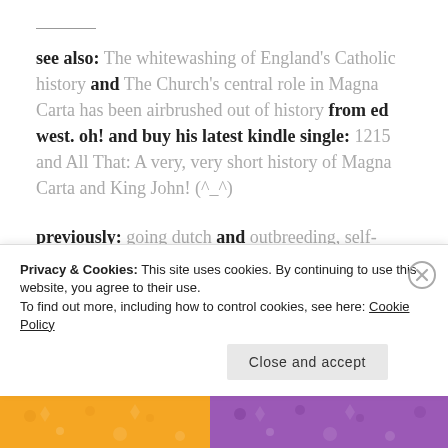see also: The whitewashing of England's Catholic history and The Church's central role in Magna Carta has been airbrushed out of history from ed west. oh! and buy his latest kindle single: 1215 and All That: A very, very short history of Magna Carta and King John! (^_^)
previously: going dutch and outbreeding, self-control and lethal violence and medieval manorialism's selection pressures and the
Privacy & Cookies: This site uses cookies. By continuing to use this website, you agree to their use.
To find out more, including how to control cookies, see here: Cookie Policy
Close and accept